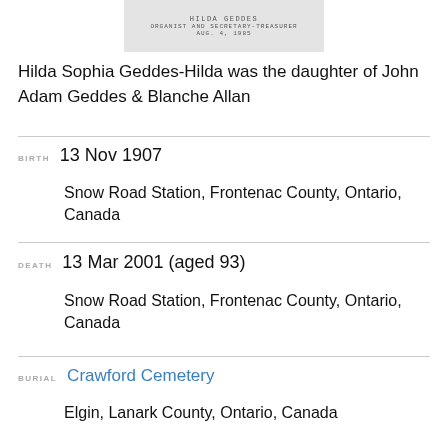[Figure (photo): Photo card with text: HILDA GEDDES, ORGANIST AND SECRETARY-TREASURER, AUG. 4, 1985]
Hilda Sophia Geddes-Hilda was the daughter of John Adam Geddes & Blanche Allan
BIRTH  13 Nov 1907
Snow Road Station, Frontenac County, Ontario, Canada
DEATH  13 Mar 2001 (aged 93)
Snow Road Station, Frontenac County, Ontario, Canada
BURIAL  Crawford Cemetery
Elgin, Lanark County, Ontario, Canada